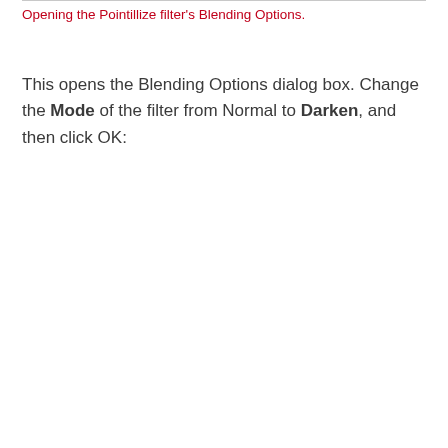Opening the Pointillize filter's Blending Options.
This opens the Blending Options dialog box. Change the Mode of the filter from Normal to Darken, and then click OK: